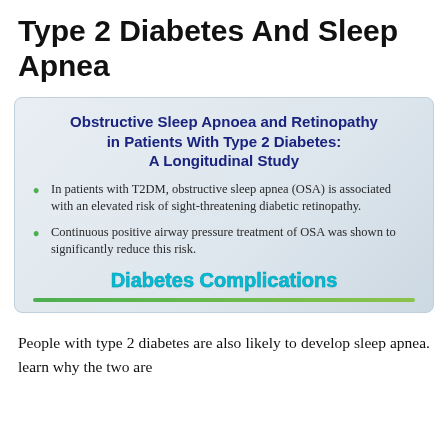Type 2 Diabetes And Sleep Apnea
[Figure (infographic): Infographic box with blue gradient background showing study title 'Obstructive Sleep Apnoea and Retinopathy in Patients With Type 2 Diabetes: A Longitudinal Study', two bullet points about OSA and retinopathy risk and CPAP treatment, and 'Diabetes Complications' label at bottom with green bar.]
People with type 2 diabetes are also likely to develop sleep apnea. learn why the two are